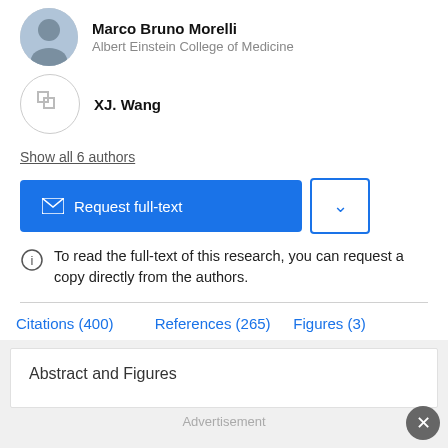Marco Bruno Morelli
Albert Einstein College of Medicine
XJ. Wang
Show all 6 authors
Request full-text
To read the full-text of this research, you can request a copy directly from the authors.
Citations (400)    References (265)    Figures (3)
Abstract and Figures
Advertisement